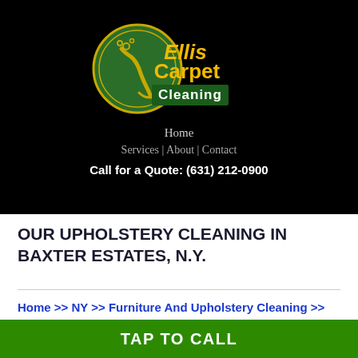[Figure (logo): Ellis Carpet Cleaning logo with green circular emblem and gold text on black background]
Home
Services | About | Contact
Call for a Quote: (631) 212-0900
OUR UPHOLSTERY CLEANING IN BAXTER ESTATES, N.Y.
Home >> NY >> Furniture And Upholstery Cleaning >> Baxter Estates
TAP TO CALL